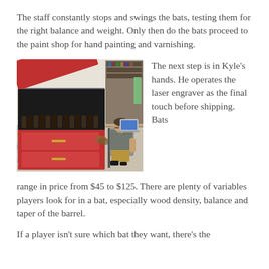The staff constantly stops and swings the bats, testing them for the right balance and weight. Only then do the bats proceed to the paint shop for hand painting and varnishing.
[Figure (photo): A man sitting at a workstation operating a laser engraver machine. The large red and grey laser engraver machine is open on the left, with baseball bats loaded inside. The worker sits at a desk with a laptop.]
The next step is in Kyle's hands. He operates the laser engraver as the final touch before shipping. Bats range in price from $45 to $125. There are plenty of variables players look for in a bat, especially wood density, balance and taper of the barrel.
If a player isn't sure which bat they want, there's the